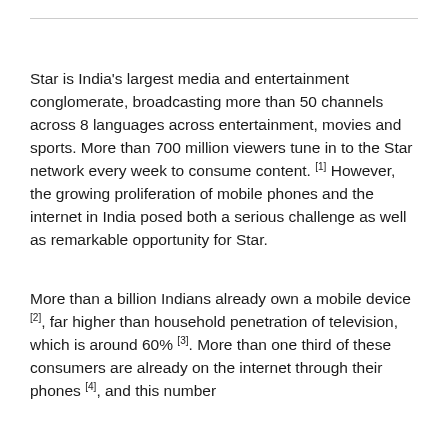Star is India's largest media and entertainment conglomerate, broadcasting more than 50 channels across 8 languages across entertainment, movies and sports. More than 700 million viewers tune in to the Star network every week to consume content. [1] However, the growing proliferation of mobile phones and the internet in India posed both a serious challenge as well as remarkable opportunity for Star.
More than a billion Indians already own a mobile device [2], far higher than household penetration of television, which is around 60% [3]. More than one third of these consumers are already on the internet through their phones [4], and this number